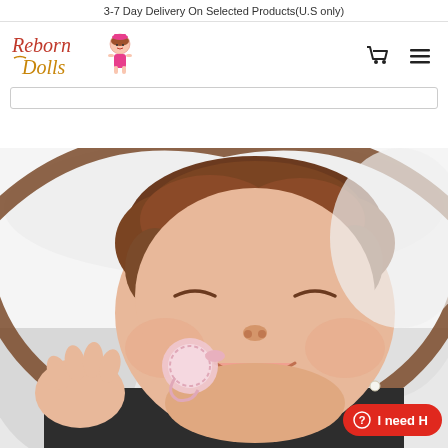3-7 Day Delivery On Selected Products(U.S only)
[Figure (logo): Reborn Dolls logo with stylized cursive text and cartoon doll icon]
[Figure (screenshot): Search bar input field]
[Figure (photo): Close-up photo of a realistic reborn baby doll sleeping and smiling, with brown hair, wearing dark clothing, holding a pink pacifier, lying on white bedding]
I need H